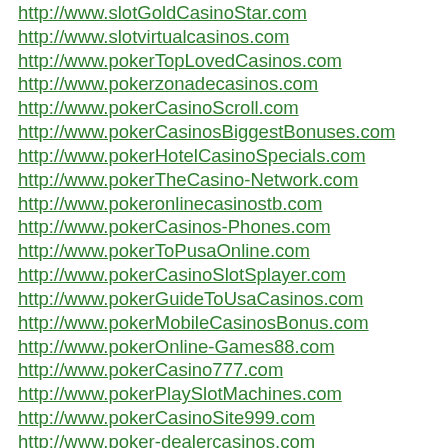http://www.slotGoldCasinoStar.com
http://www.slotvirtualcasinos.com
http://www.pokerTopLovedCasinos.com
http://www.pokerzonadecasinos.com
http://www.pokerCasinoScroll.com
http://www.pokerCasinosBiggestBonuses.com
http://www.pokerHotelCasinoSpecials.com
http://www.pokerTheCasino-Network.com
http://www.pokeronlinecasinostb.com
http://www.pokerCasinos-Phones.com
http://www.pokerToPusaOnline.com
http://www.pokerCasinoSlotSplayer.com
http://www.pokerGuideToUsaCasinos.com
http://www.pokerMobileCasinosBonus.com
http://www.pokerOnline-Games88.com
http://www.pokerCasino777.com
http://www.pokerPlaySlotMachines.com
http://www.pokerCasinoSite999.com
http://www.poker-dealercasinos.com